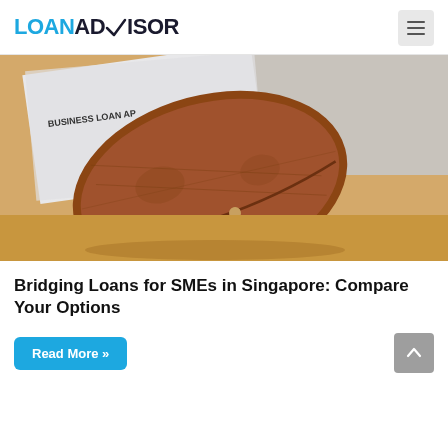LOANADVISOR
[Figure (photo): Photo of a business loan application form with a brown leather wallet/clutch on a manila envelope background]
Bridging Loans for SMEs in Singapore: Compare Your Options
Read More »